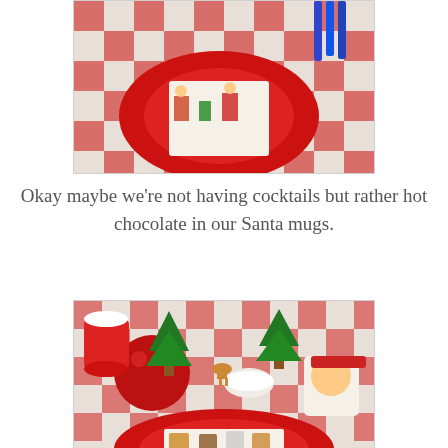[Figure (photo): Photo of a red plate with a Christmas-themed napkin on a red and white checkered tablecloth, viewed from above. Some markers visible at the top right.]
Okay maybe we’re not having cocktails but rather hot chocolate in our Santa mugs.
[Figure (photo): Photo of a Christmas table setting with red and white checkered tablecloth, Santa mugs, green ceramic Christmas trees, a red glittery ball ornament, small animal figurines, a red plate with a holiday napkin featuring dogs in Christmas attire.]